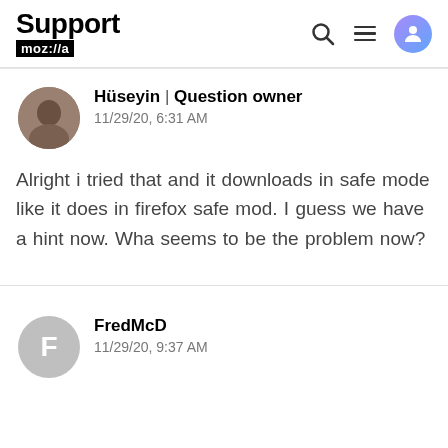Support moz://a
Hüseyin | Question owner
11/29/20, 6:31 AM
Alright i tried that and it downloads in safe mode like it does in firefox safe mod. I guess we have a hint now. What seems to be the problem now?
FredMcD
11/29/20, 9:37 AM